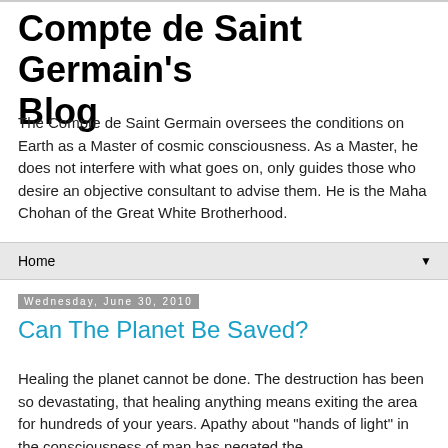Compte de Saint Germain's Blog
The Compte de Saint Germain oversees the conditions on Earth as a Master of cosmic consciousness. As a Master, he does not interfere with what goes on, only guides those who desire an objective consultant to advise them. He is the Maha Chohan of the Great White Brotherhood.
Home
Wednesday, June 30, 2010
Can The Planet Be Saved?
Healing the planet cannot be done. The destruction has been so devastating, that healing anything means exiting the area for hundreds of your years. Apathy about "hands of light" in the consciousness of man has negated the